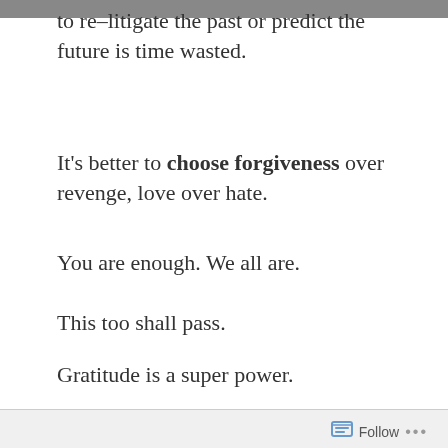to re-litigate the past or predict the future is time wasted.
It's better to choose forgiveness over revenge, love over hate.
You are enough. We all are.
This too shall pass.
Gratitude is a super power.
We all get afraid. Keep going.
The wolf we feed is the wolf that wins.
If we are serious about change we need to do the